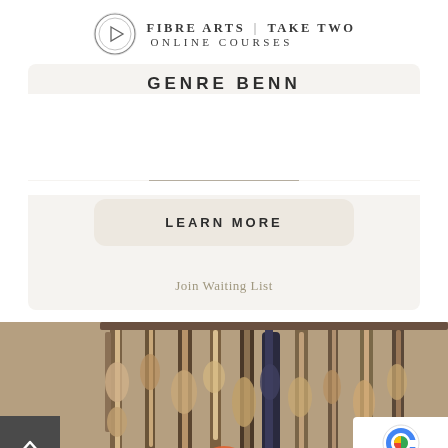[Figure (logo): Fibre Arts Take Two Online Courses logo with circular play button icon]
FIBRE ARTS | TAKE TWO ONLINE COURSES
GENRE BENN
LEARN MORE
Join Waiting List
[Figure (photo): Fibre art installations hanging from a rack - natural colored woven and fiber art pieces hanging vertically, with organic textures in brown, tan, and natural tones]
[Figure (other): reCAPTCHA badge with Google logo and Privacy / Terms links]
[Figure (other): Back to top arrow button, dark grey square with upward chevron]